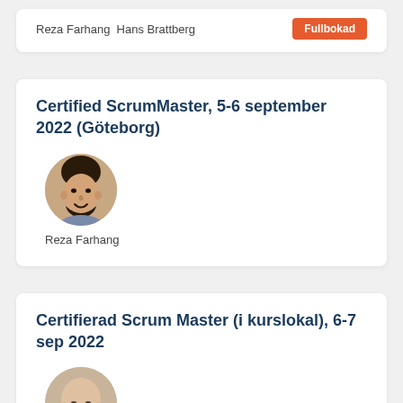Reza Farhang  Hans Brattberg
Fullbokad
Certified ScrumMaster, 5-6 september 2022 (Göteborg)
[Figure (photo): Headshot of Reza Farhang, a smiling man with dark beard]
Reza Farhang
Certifierad Scrum Master (i kurslokal), 6-7 sep 2022
[Figure (photo): Headshot of Hans Brattberg, a bald man]